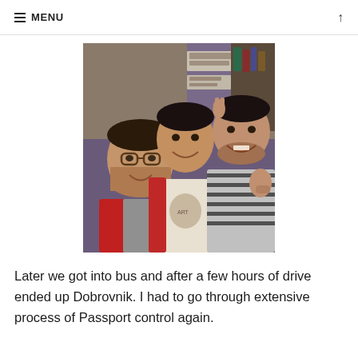MENU
[Figure (photo): Three young men taking a selfie indoors, smiling; the one on the right is giving a thumbs up. Background shows signs and shelving.]
Later we got into bus and after a few hours of drive ended up Dobrovnik. I had to go through extensive process of Passport control again.